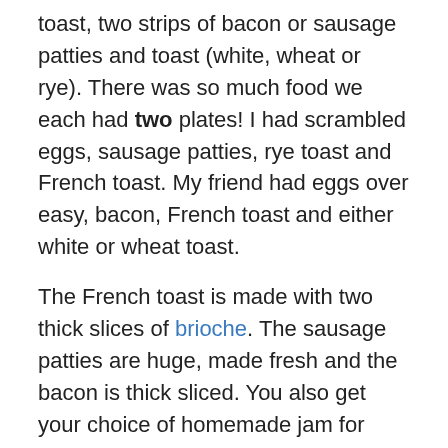toast, two strips of bacon or sausage patties and toast (white, wheat or rye).  There was so much food we each had two plates!  I had scrambled eggs, sausage patties, rye toast and French toast.  My friend had eggs over easy, bacon, French toast and either white or wheat toast.
The French toast is made with two thick slices of brioche.  The sausage patties are huge, made fresh and the bacon is thick sliced.  You also get your choice of homemade jam for your toast (strawberry, blueberry or raspberry).  I had strawberry and my friend had blueberry…OMG!  A breakfast fit for a king or queen, for only $7.99!
In addition to what we ordered, there are breakfast sandwiches, omelets, breakfast scrambles, eggs Benedict, creamed chipped beef and the list goes on and on.  Another homemade delight on the menu is donuts.  My